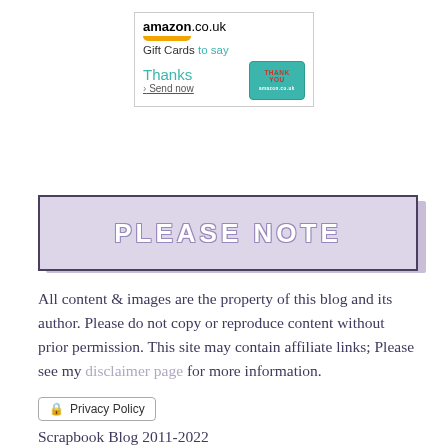[Figure (screenshot): Amazon.co.uk advertisement banner for Gift Cards with 'Gift Cards to say Thanks' text and a teal Thank You card graphic with 'Send now' link]
[Figure (other): Please Note banner with lavender/purple background and white bold text reading PLEASE NOTE inside a dark bordered box with shadow]
All content & images are the property of this blog and its author. Please do not copy or reproduce content without prior permission. This site may contain affiliate links; Please see my disclaimer page for more information.
Privacy Policy
Scrapbook Blog 2011-2022